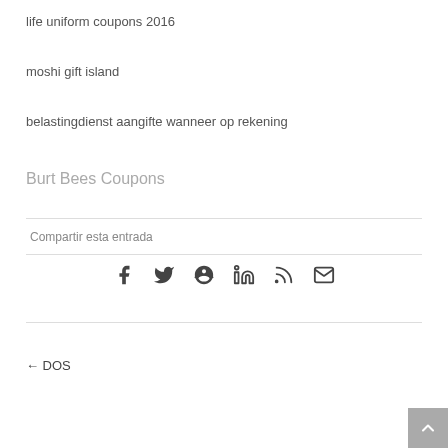life uniform coupons 2016
moshi gift island
belastingdienst aangifte wanneer op rekening
Burt Bees Coupons
Compartir esta entrada
[Figure (infographic): Social sharing icons: Facebook, Twitter, Pinterest, LinkedIn, RSS, Email]
← DOS